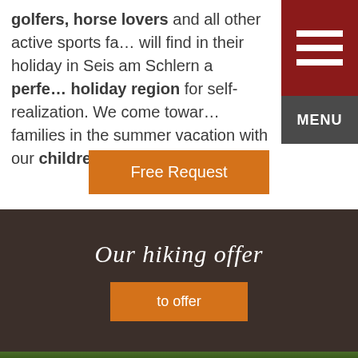golfers, horse lovers and all other active sports fa… will find in their holiday in Seis am Schlern a perfect holiday region for self-realization. We come towards families in the summer vacation with our children's reductions.
Free Request
Our hiking offer
to offer